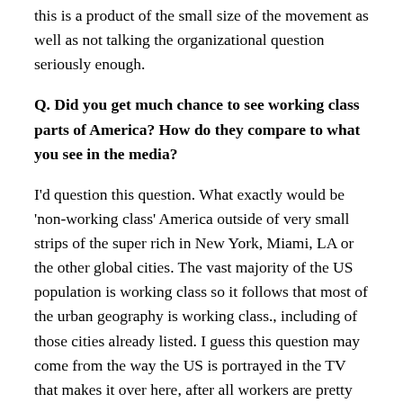this is a product of the small size of the movement as well as not talking the organizational question seriously enough.
Q. Did you get much chance to see working class parts of America? How do they compare to what you see in the media?
I'd question this question. What exactly would be 'non-working class' America outside of very small strips of the super rich in New York, Miami, LA or the other global cities. The vast majority of the US population is working class so it follows that most of the urban geography is working class., including of those cities already listed. I guess this question may come from the way the US is portrayed in the TV that makes it over here, after all workers are pretty absent from 'Sex & the City' except when they are pouring drinks for or being